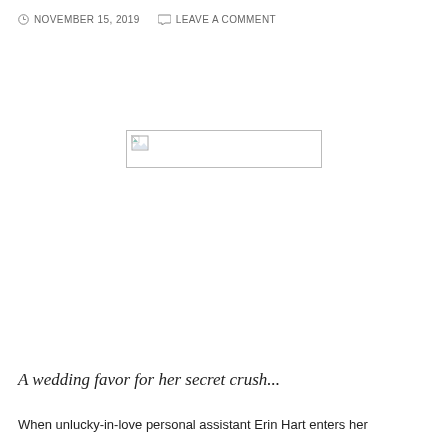NOVEMBER 15, 2019   LEAVE A COMMENT
[Figure (illustration): Broken image placeholder box with torn image icon in top-left corner]
A wedding favor for her secret crush...
When unlucky-in-love personal assistant Erin Hart enters her